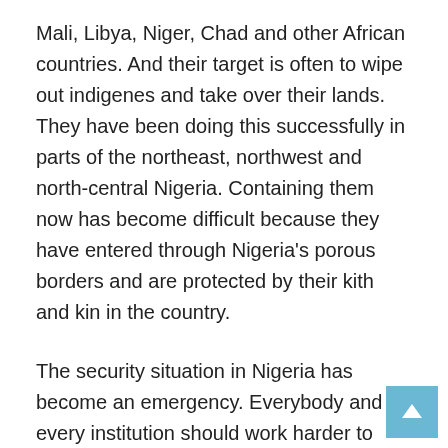Mali, Libya, Niger, Chad and other African countries. And their target is often to wipe out indigenes and take over their lands. They have been doing this successfully in parts of the northeast, northwest and north-central Nigeria. Containing them now has become difficult because they have entered through Nigeria's porous borders and are protected by their kith and kin in the country.
The security situation in Nigeria has become an emergency. Everybody and every institution should work harder to eliminate criminals before they plunge the country into another civil war. It is even more tragic that some federal government officials apply double standard: they are ever ready to defend Fulani criminals but pillory harmless protesters in the southeast and south-south. A group of northerners, for instance, called a press conference to give the federal government a 30-day ultimatum to implement “Ruga”